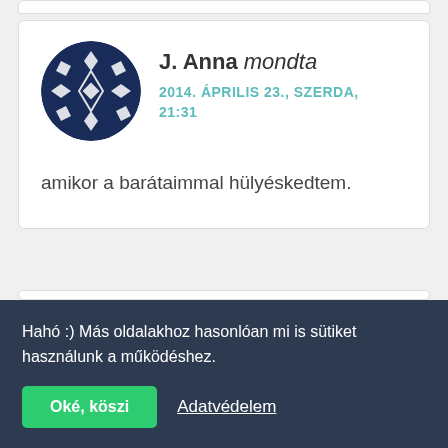[Figure (illustration): Partial top edge of a comment card, white background with grey border, barely visible at the top of the page.]
J. Anna mondta
2014. ÁPRILIS 23., SZERDA, 21:31
amikor a barátaimmal hülyéskedtem.
[Figure (photo): Partial second comment card showing a small avatar (dark hair, partial face) and partially visible name starting with 'Dikecs']
Hahó :) Más oldalakhoz hasonlóan mi is sütiket használunk a működéshez.
Oké, köszi
Adatvédelem